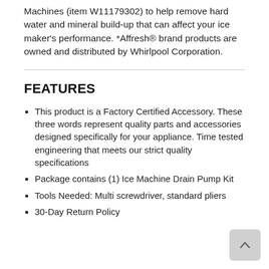Machines (item W11179302) to help remove hard water and mineral build-up that can affect your ice maker's performance. *Affresh® brand products are owned and distributed by Whirlpool Corporation.
FEATURES
This product is a Factory Certified Accessory. These three words represent quality parts and accessories designed specifically for your appliance. Time tested engineering that meets our strict quality specifications
Package contains (1) Ice Machine Drain Pump Kit
Tools Needed: Multi screwdriver, standard pliers
30-Day Return Policy